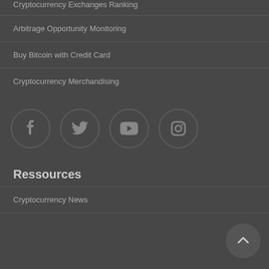Cryptocurrency Exchanges Ranking
Arbitrage Opportunity Monitoring
Buy Bitcoin with Credit Card
Cryptocurrency Merchandising
[Figure (infographic): Four social media icon circles: Facebook, Twitter, YouTube, Instagram]
Ressources
Cryptocurrency News